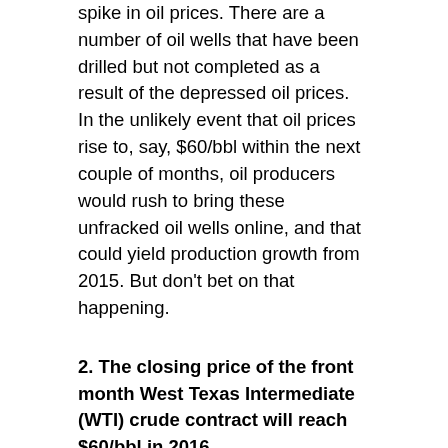spike in oil prices. There are a number of oil wells that have been drilled but not completed as a result of the depressed oil prices. In the unlikely event that oil prices rise to, say, $60/bbl within the next couple of months, oil producers would rush to bring these unfracked oil wells online, and that could yield production growth from 2015. But don't bet on that happening.
2. The closing price of the front month West Texas Intermediate (WTI) crude contract will reach $60/bbl in 2016.
As I write this, the most recent closing price of the front month contract for WTI — for February 2016 delivery — was $31.08/bbl. Also as I write this, the